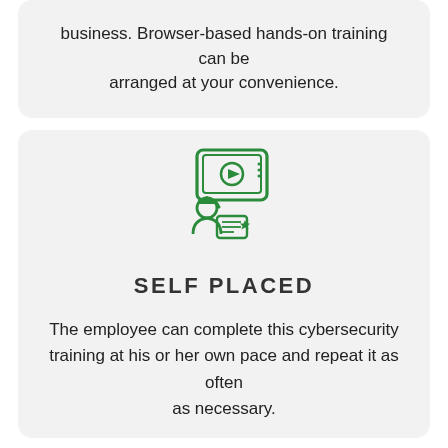business. Browser-based hands-on training can be arranged at your convenience.
[Figure (illustration): Green line-art icon of a person watching an online video/training on a screen with a play button, holding a certificate or card.]
SELF PLACED
The employee can complete this cybersecurity training at his or her own pace and repeat it as often as necessary.